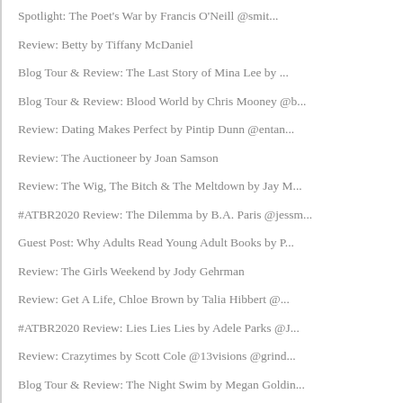Spotlight: The Poet's War by Francis O'Neill @smit...
Review: Betty by Tiffany McDaniel
Blog Tour & Review: The Last Story of Mina Lee by ...
Blog Tour & Review: Blood World by Chris Mooney @b...
Review: Dating Makes Perfect by Pintip Dunn @entan...
Review: The Auctioneer by Joan Samson
Review: The Wig, The Bitch & The Meltdown by Jay M...
#ATBR2020 Review: The Dilemma by B.A. Paris @jessm...
Guest Post: Why Adults Read Young Adult Books by P...
Review: The Girls Weekend by Jody Gehrman
Review: Get A Life, Chloe Brown by Talia Hibbert @...
#ATBR2020 Review: Lies Lies Lies by Adele Parks @J...
Review: Crazytimes by Scott Cole @13visions @grind...
Blog Tour & Review: The Night Swim by Megan Goldin...
#ATBR2020 Review: The First to Lie by Hank Phillip...
Blog Tour & Review: Lisa, Lies, Lies by Adele Parks
Review: Different Seasons by Stephen King @scribne...